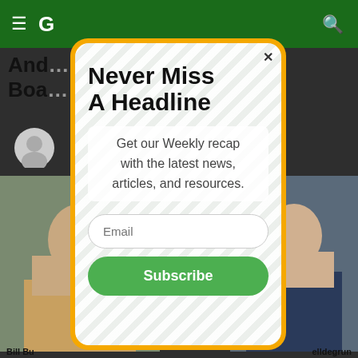G [hamburger menu, search icon] — green navigation bar
Never Miss A Headline
Get our Weekly recap with the latest news, articles, and resources.
Email
Subscribe
Bill Bu
elldegrun